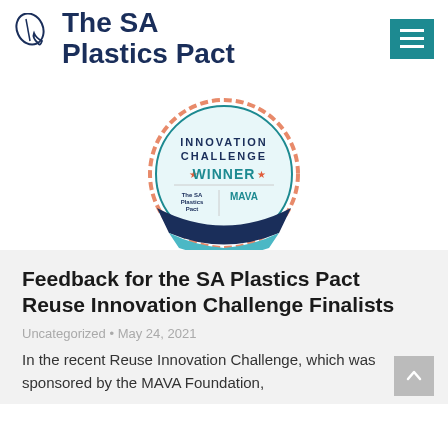The SA Plastics Pact
[Figure (illustration): Innovation Challenge Winner badge/seal with The SA Plastics Pact and MAVA Foundation logos]
Feedback for the SA Plastics Pact Reuse Innovation Challenge Finalists
Uncategorized • May 24, 2021
In the recent Reuse Innovation Challenge, which was sponsored by the MAVA Foundation,